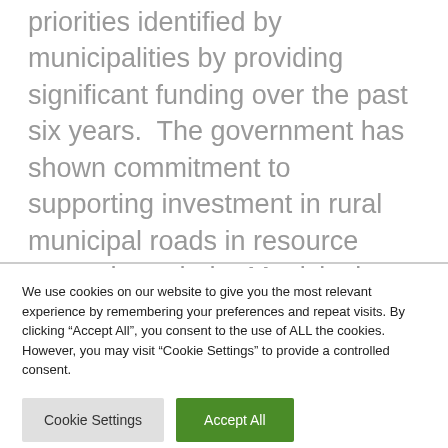priorities identified by municipalities by providing significant funding over the past six years. The government has shown commitment to supporting investment in rural municipal roads in resource areas through the Municipal Roads for the Economy Program, which is administered by SARM.
Saskatchewan's approach towards a long-term
We use cookies on our website to give you the most relevant experience by remembering your preferences and repeat visits. By clicking “Accept All”, you consent to the use of ALL the cookies. However, you may visit “Cookie Settings” to provide a controlled consent.